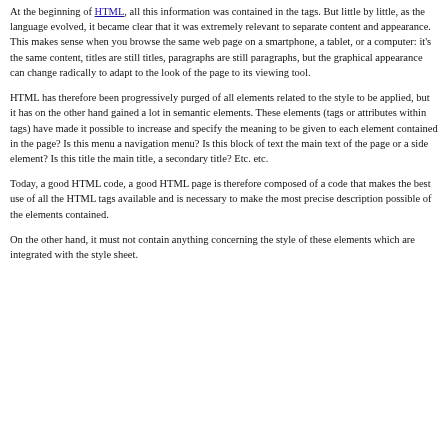At the beginning of HTML, all this information was contained in the tags. But little by little, as the language evolved, it became clear that it was extremely relevant to separate content and appearance. This makes sense when you browse the same web page on a smartphone, a tablet, or a computer: it's the same content, titles are still titles, paragraphs are still paragraphs, but the graphical appearance can change radically to adapt to the look of the page to its viewing tool.
HTML has therefore been progressively purged of all elements related to the style to be applied, but it has on the other hand gained a lot in semantic elements. These elements (tags or attributes within tags) have made it possible to increase and specify the meaning to be given to each element contained in the page? Is this menu a navigation menu? Is this block of text the main text of the page or a side element? Is this title the main title, a secondary title? Etc. etc.
Today, a good HTML code, a good HTML page is therefore composed of a code that makes the best use of all the HTML tags available and is necessary to make the most precise description possible of the elements contained.
On the other hand, it must not contain anything concerning the style of these elements which are integrated with the style sheet.